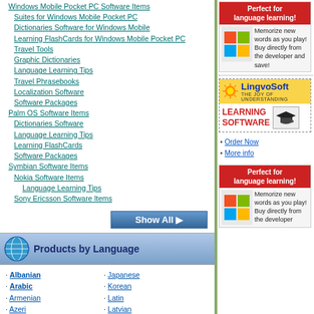Windows Mobile Pocket PC Software Items
Suites for Windows Mobile Pocket PC
Dictionaries Software for Windows Mobile
Learning FlashCards for Windows Mobile Pocket PC
Travel Tools
Graphic Dictionaries
Language Learning Tips
Travel Phrasebooks
Localization Software
Software Packages
Palm OS Software Items
Dictionaries Software
Language Learning Tips
Learning FlashCards
Software Packages
Symbian Software Items
Nokia Software Items
Language Learning Tips
Sony Ericsson Software Items
[Figure (other): Show All button]
Products by Language
Albanian
Arabic
Armenian
Azeri
Bengali
Bosnian
Bulgarian
Chinese Simpl.
Chinese Trad.
Croatian
Czech
Japanese
Korean
Latin
Latvian
Lithuanian
Multilingual
Norwegian
Persian(Farsi)
Polish
Portuguese
Romanian
[Figure (other): Perfect for language learning ad box with Windows logo - top right]
[Figure (logo): LingvoSoft - The Joy of Understanding logo with Learning Software text]
Order Now
More info
[Figure (other): Perfect for language learning ad box with Windows logo - bottom right]